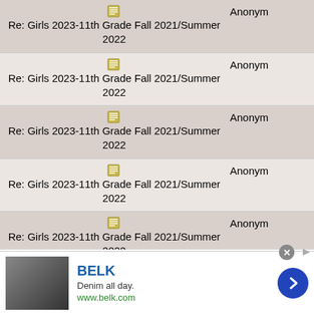| Thread | Author |
| --- | --- |
| Re: Girls 2023-11th Grade Fall 2021/Summer 2022 | Anonym |
| Re: Girls 2023-11th Grade Fall 2021/Summer 2022 | Anonym |
| Re: Girls 2023-11th Grade Fall 2021/Summer 2022 | Anonym |
| Re: Girls 2023-11th Grade Fall 2021/Summer 2022 | Anonym |
| Re: Girls 2023-11th Grade Fall 2021/Summer 2022 | Anonym |
| Re: Girls 2023-11th Grade Fall 2021/Summer 2022 | Anonym |
| Re: Girls 2023-11th Grade Fall 2021/Summer 2022 | Anonym |
[Figure (infographic): Advertisement banner for BELK: Denim all day. www.belk.com with a right-arrow button and close button.]